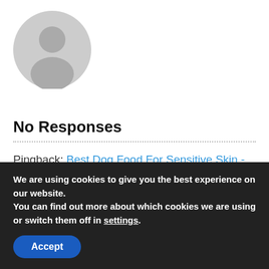[Figure (illustration): Generic gray user avatar icon (silhouette of a person)]
No Responses
Pingback: Best Dog Food For Sensitive Skin - Valleyfeedandpetsupply
January 3, 2021
We are using cookies to give you the best experience on our website.
You can find out more about which cookies we are using or switch them off in settings.
Accept